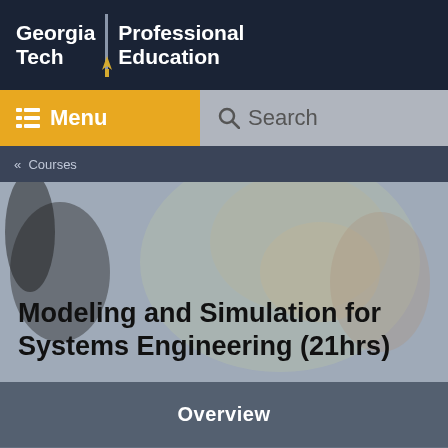Georgia Tech | Professional Education
Menu
Search
« Courses
Modeling and Simulation for Systems Engineering (21hrs)
Overview
Course Content